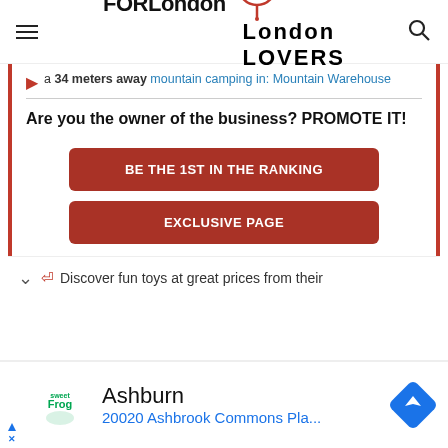FORLondon LOVERS
a 34 meters away mountain camping in: Mountain Warehouse
Are you the owner of the business? PROMOTE IT!
BE THE 1ST IN THE RANKING
EXCLUSIVE PAGE
Discover fun toys at great prices from their
Ashburn
20020 Ashbrook Commons Pla...